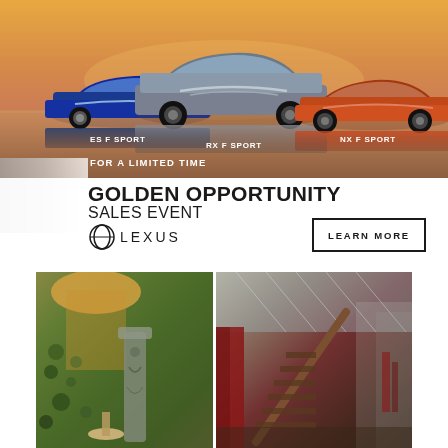[Figure (photo): Three Lexus F SPORT vehicles (ES F SPORT in blue, RX F SPORT in silver, NX F SPORT in orange) parked on a reflective surface at sunset with golden-orange sky. Labels read ES F SPORT, RX F SPORT, NX F SPORT. Text 'FOR A LIMITED TIME' overlaid.]
GOLDEN OPPORTUNITY SALES EVENT
[Figure (logo): Lexus logo with spindle grille icon and LEXUS text]
LEARN MORE
[Figure (photo): Two interior/venue photos side by side: left shows green moss wall with decorative stone chair and gold lamp; right shows elegant staircase with red curtains and reflective surfaces.]